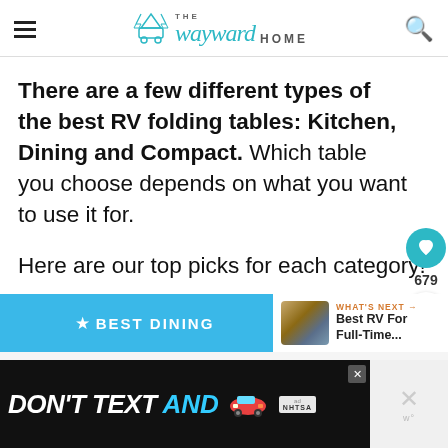The Wayward Home
There are a few different types of the best RV folding tables: Kitchen, Dining and Compact. Which table you choose depends on what you want to use it for.
Here are our top picks for each category!
★ BEST DINING
WHAT'S NEXT → Best RV For Full-Time...
[Figure (photo): Advertisement banner: DON'T TEXT AND [car emoji] with NHTSA logo]